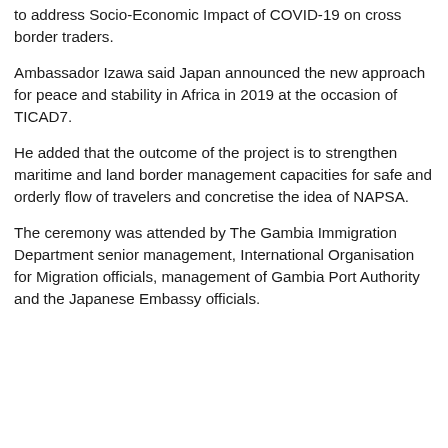to address Socio-Economic Impact of COVID-19 on cross border traders.
Ambassador Izawa said Japan announced the new approach for peace and stability in Africa in 2019 at the occasion of TICAD7.
He added that the outcome of the project is to strengthen maritime and land border management capacities for safe and orderly flow of travelers and concretise the idea of NAPSA.
The ceremony was attended by The Gambia Immigration Department senior management, International Organisation for Migration officials, management of Gambia Port Authority and the Japanese Embassy officials.